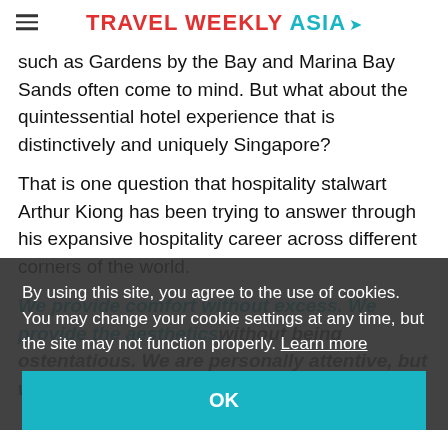TRAVEL WEEKLY ASIA
such as Gardens by the Bay and Marina Bay Sands often come to mind. But what about the quintessential hotel experience that is distinctively and uniquely Singapore?
That is one question that hospitality stalwart Arthur Kiong has been trying to answer through his expansive hospitality career across different corners of the world.
By using this site, you agree to the use of cookies. You may change your cookie settings at any time, but the site may not function properly. Learn more
We provide comfort without excess. We provide the aesthetics without being ostentatious. We are personally attentive, but we are not